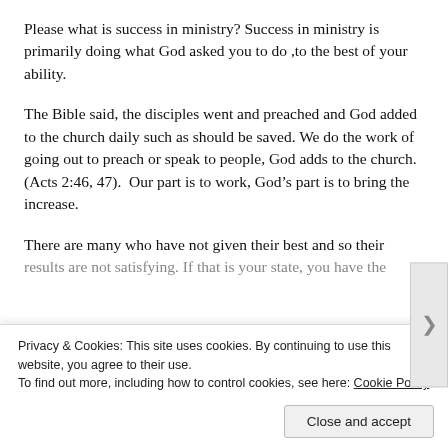Please what is success in ministry? Success in ministry is primarily doing what God asked you to do ,to the best of your ability.
The Bible said, the disciples went and preached and God added to the church daily such as should be saved. We do the work of going out to preach or speak to people, God adds to the church. (Acts 2:46, 47).  Our part is to work, God’s part is to bring the increase.
There are many who have not given their best and so their results are not satisfying. If that is your state, you have the...
Privacy & Cookies: This site uses cookies. By continuing to use this website, you agree to their use.
To find out more, including how to control cookies, see here: Cookie Policy
Close and accept